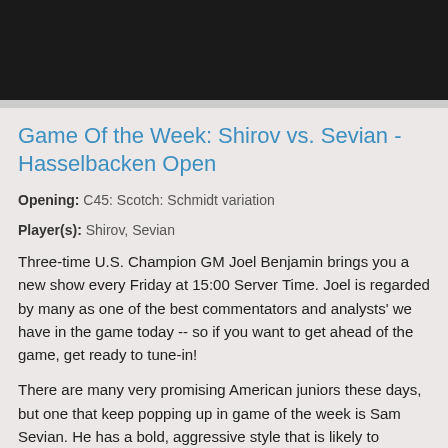[Figure (photo): Black banner at top of page, likely a video thumbnail or header image area]
Game Of the Week: Shirov vs. Sevian - Hasselbacken Open
Opening: C45: Scotch: Schmidt variation
Player(s): Shirov, Sevian
Three-time U.S. Champion GM Joel Benjamin brings you a new show every Friday at 15:00 Server Time. Joel is regarded by many as one of the best commentators and analysts' we have in the game today -- so if you want to get ahead of the game, get ready to tune-in!
There are many very promising American juniors these days, but one that keep popping up in game of the week is Sam Sevian. He has a bold, aggressive style that is likely to produce exciting